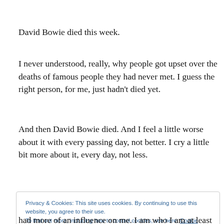David Bowie died this week.
I never understood, really, why people got upset over the deaths of famous people they had never met. I guess the right person, for me, just hadn't died yet.
And then David Bowie died. And I feel a little worse about it with every passing day, not better. I cry a little bit more about it, every day, not less.
Privacy & Cookies: This site uses cookies. By continuing to use this website, you agree to their use.
To find out more, including how to control cookies, see here: Cookie Policy
had more of an influence on me. I am who I am at least in